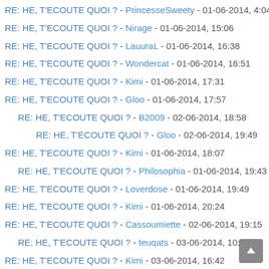RE: HE, T'ECOUTE QUOI ? - PrincesseSweety - 01-06-2014, 4:04
RE: HE, T'ECOUTE QUOI ? - Nirage - 01-06-2014, 15:06
RE: HE, T'ECOUTE QUOI ? - LauuraL - 01-06-2014, 16:38
RE: HE, T'ECOUTE QUOI ? - Wondercat - 01-06-2014, 16:51
RE: HE, T'ECOUTE QUOI ? - Kimi - 01-06-2014, 17:31
RE: HE, T'ECOUTE QUOI ? - Gloo - 01-06-2014, 17:57
RE: HE, T'ECOUTE QUOI ? - B2009 - 02-06-2014, 18:58
RE: HE, T'ECOUTE QUOI ? - Gloo - 02-06-2014, 19:49
RE: HE, T'ECOUTE QUOI ? - Kimi - 01-06-2014, 18:07
RE: HE, T'ECOUTE QUOI ? - Philosophia - 01-06-2014, 19:43
RE: HE, T'ECOUTE QUOI ? - Loverdose - 01-06-2014, 19:49
RE: HE, T'ECOUTE QUOI ? - Kimi - 01-06-2014, 20:24
RE: HE, T'ECOUTE QUOI ? - Cassoumiette - 02-06-2014, 19:15
RE: HE, T'ECOUTE QUOI ? - teuqats - 03-06-2014, 10:26
RE: HE, T'ECOUTE QUOI ? - Kimi - 03-06-2014, 16:42
RE: HE, T'ECOUTE QUOI ? - otiah - 03-06-2014, 20:01
RE: HE, T'ECOUTE QUOI ? - Kimi - 04-06-2014, 14:31
RE: HE, T'ECOUTE QUOI ? - B2009 - 04-06-2014, 15:06
RE: HE, T'ECOUTE QUOI ? - Mllecarax3 - 04-06-2014, 18:46
RE: HE, T'ECOUTE QUOI ? - jujudu12 - 05-06-2014, 18:46
RE: HE, T'ECOUTE QUOI ? - Kimi - 05-06-2014, 19:22
RE: HE, T'ECOUTE QUOI ? - Wood - 05-06-2014, 22:15
RE: HE, T'ECOUTE QUOI ? - Kiwyk - 05-06-2014, 23:38